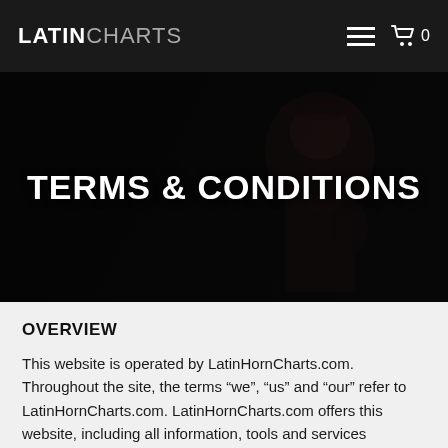LATINCHARTS
TERMS & CONDITIONS
OVERVIEW
This website is operated by LatinHornCharts.com. Throughout the site, the terms “we”, “us” and “our” refer to LatinHornCharts.com. LatinHornCharts.com offers this website, including all information, tools and services